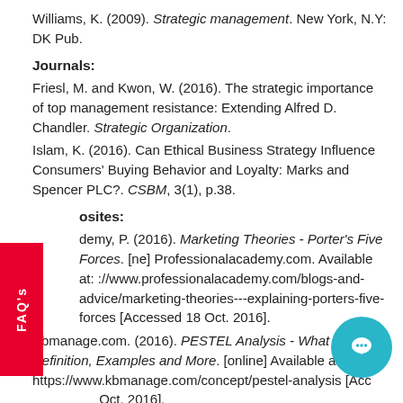Williams, K. (2009). Strategic management. New York, N.Y: DK Pub.
Journals:
Friesl, M. and Kwon, W. (2016). The strategic importance of top management resistance: Extending Alfred D. Chandler. Strategic Organization.
Islam, K. (2016). Can Ethical Business Strategy Influence Consumers' Buying Behavior and Loyalty: Marks and Spencer PLC?. CSBM, 3(1), p.38.
Websites:
Academy, P. (2016). Marketing Theories - Porter's Five Forces. [online] Professionalacademy.com. Available at: http://www.professionalacademy.com/blogs-and-advice/marketing-theories---explaining-porters-five-forces [Accessed 18 Oct. 2016].
Kbmanage.com. (2016). PESTEL Analysis - What is it? Definition, Examples and More. [online] Available at: https://www.kbmanage.com/concept/pestel-analysis [Accessed 18 Oct. 2016].
Corporate.marksandspencer.com. (2016). Plan A. [online] Available